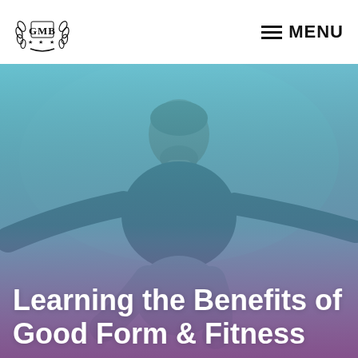GMB | MENU
[Figure (photo): A bearded man in a black t-shirt performing a fitness/movement exercise with arms spread wide, photographed against a light background with a teal-to-pink gradient overlay.]
Learning the Benefits of Good Form & Fitness